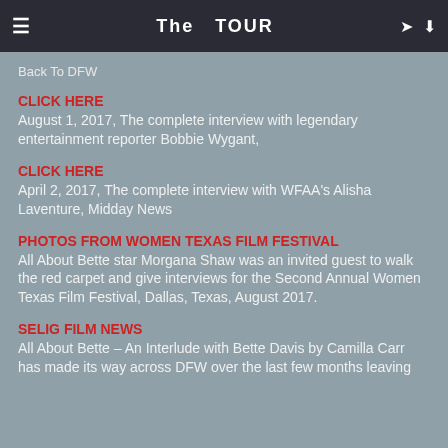≡   The  TOUR   ✈  ⬡
Back To DFW
CLICK HERE
August 1, 2017, The complete interview with legendary entertainment reporter Bobbie Wygant,
CLICK HERE
April 2, 2017, The complete interview with WFAA's Alisha Laventure, Midday News
PHOTOS FROM WOMEN TEXAS FILM FESTIVAL
All About Bette star Morgana Shaw was an invited guest to walk the red carpet and give interviews for the Second Annual Women Texas Film Festival, Dallas, Texas, August 2017.
SELIG FILM NEWS
All About Bette – An Interlude with Bette Davis by Camilla Carr has made its way across DFW over the last few months leaving...